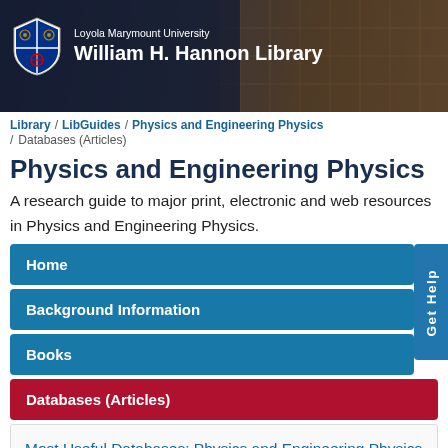[Figure (logo): Loyola Marymount University William H. Hannon Library banner with shield logo and building photo background]
Library / LibGuides / Physics and Engineering Physics / Databases (Articles)
Physics and Engineering Physics
A research guide to major print, electronic and web resources in Physics and Engineering Physics.
Home
Background Information
Books
Databases (Articles)
Get Help
Most Useful Databases: Physics and Engineering Physics